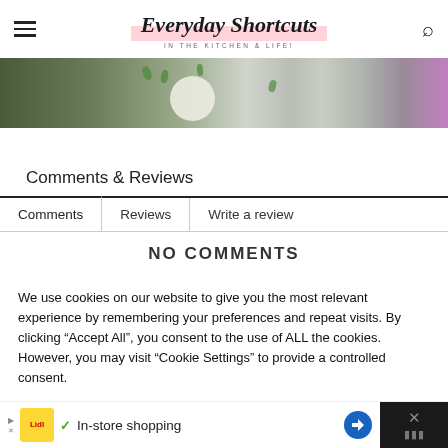Everyday Shortcuts IN THE KITCHEN & LIFE!
[Figure (photo): Partial food photo showing a bowl and green herbs/leaves on a dark surface with a pink container edge visible]
Comments & Reviews
Comments | Reviews | Write a review
NO COMMENTS
We use cookies on our website to give you the most relevant experience by remembering your preferences and repeat visits. By clicking "Accept All", you consent to the use of ALL the cookies. However, you may visit "Cookie Settings" to provide a controlled consent.
In-store shopping [Advertisement]